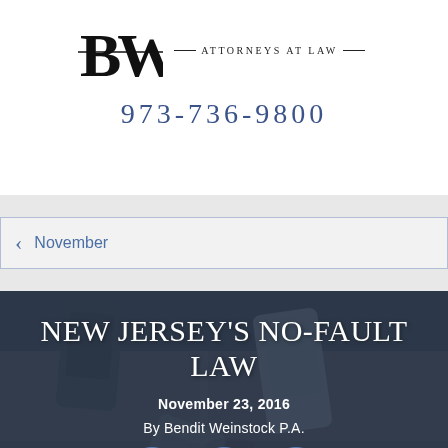[Figure (logo): BW Attorneys at Law logo with stylized BW initials and text 'Attorneys at Law']
973-736-9800
November
[Figure (photo): Overhead view of a car accident/crash scene used as background for article header]
NEW JERSEY'S NO-FAULT LAW
November 23, 2016
By Bendit Weinstock P.A.